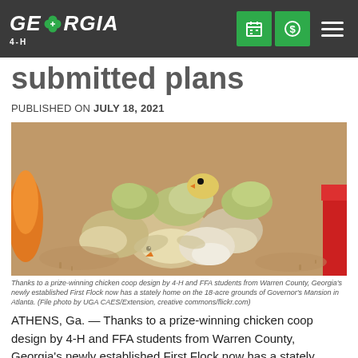GEORGIA 4-H
submitted plans
PUBLISHED ON JULY 18, 2021
[Figure (photo): Baby chicks (yellow and white) clustered together on sawdust/shavings bedding, with a red feeder visible at right and orange dish at left.]
Thanks to a prize-winning chicken coop design by 4-H and FFA students from Warren County, Georgia's newly established First Flock now has a stately home on the 18-acre grounds of Governor's Mansion in Atlanta. (File photo by UGA CAES/Extension, creative commons/flickr.com)
ATHENS, Ga. — Thanks to a prize-winning chicken coop design by 4-H and FFA students from Warren County, Georgia's newly established First Flock now has a stately home on the 18-acre grounds of Governor's Mansion in Atlanta.